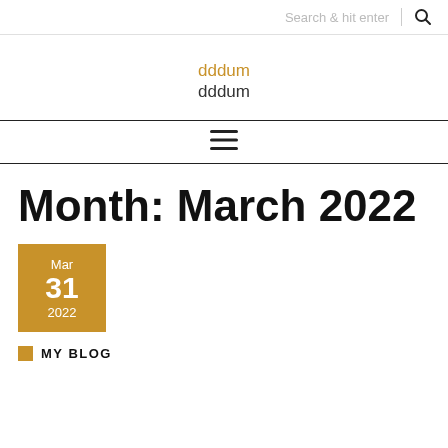Search & hit enter 🔍
dddum
dddum
[Figure (other): Hamburger menu icon (three horizontal lines)]
Month: March 2022
[Figure (other): Date box showing Mar 31 2022 on golden/amber background]
MY BLOG